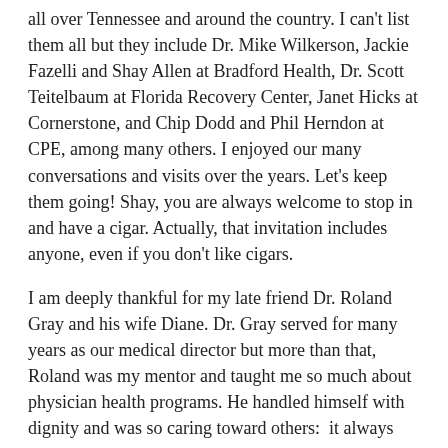all over Tennessee and around the country. I can't list them all but they include Dr. Mike Wilkerson, Jackie Fazelli and Shay Allen at Bradford Health, Dr. Scott Teitelbaum at Florida Recovery Center, Janet Hicks at Cornerstone, and Chip Dodd and Phil Herndon at CPE, among many others. I enjoyed our many conversations and visits over the years. Let's keep them going! Shay, you are always welcome to stop in and have a cigar. Actually, that invitation includes anyone, even if you don't like cigars.
I am deeply thankful for my late friend Dr. Roland Gray and his wife Diane. Dr. Gray served for many years as our medical director but more than that, Roland was my mentor and taught me so much about physician health programs. He handled himself with dignity and was so caring toward others: it always impressed me and has stayed with me. I have so much respect for him and for Diane's continued support. I miss him greatly!
Looking back, one of the greatest blessings of my entire experience and tenure is being able to see miracles happen. When someone comes in the office for the first time – nervous, scared, and feeling like their life and